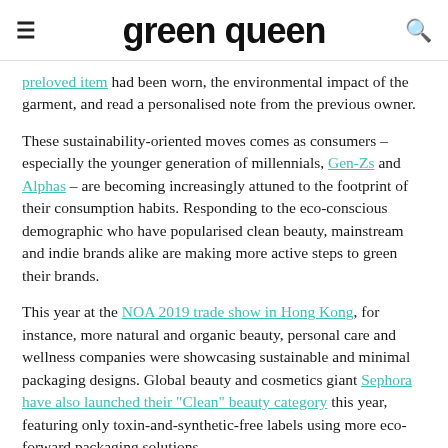green queen
preloved item had been worn, the environmental impact of the garment, and read a personalised note from the previous owner.
These sustainability-oriented moves comes as consumers – especially the younger generation of millennials, Gen-Zs and Alphas – are becoming increasingly attuned to the footprint of their consumption habits. Responding to the eco-conscious demographic who have popularised clean beauty, mainstream and indie brands alike are making more active steps to green their brands.
This year at the NOA 2019 trade show in Hong Kong, for instance, more natural and organic beauty, personal care and wellness companies were showcasing sustainable and minimal packaging designs. Global beauty and cosmetics giant Sephora have also launched their "Clean" beauty category this year, featuring only toxin-and-synthetic-free labels using more eco-forward packaging solutions.